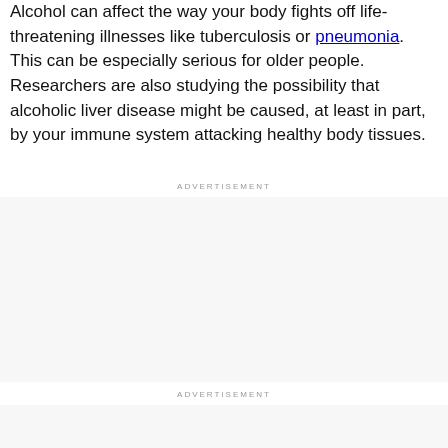Alcohol can affect the way your body fights off life-threatening illnesses like tuberculosis or pneumonia. This can be especially serious for older people. Researchers are also studying the possibility that alcoholic liver disease might be caused, at least in part, by your immune system attacking healthy body tissues.
ADVERTISEMENT
ADVERTISEMENT